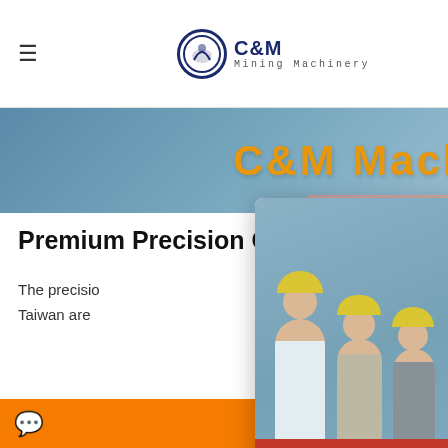[Figure (logo): C&M Mining Machinery logo with circular emblem and hamburger menu icon]
[Figure (photo): C&M Machinery banner with industrial/construction background, orange text reading C&M Machinery]
Premium Precision Centerless Gri
The precisio...
Taiwan are ...
[Figure (photo): Live Chat popup overlay showing workers in yellow hard hats, LIVE CHAT heading in red, Click for a Free Consultation text, Chat now and Chat later buttons]
[Figure (photo): Right sidebar showing woman with headset (customer support), navy blue panel with have any requests / click here text, Quotation button, Enquiry heading, drobilkalm@gmail.com email, Chat button]
[Figure (photo): Bottom construction site photo showing crane and blue building frame structure against blue sky]